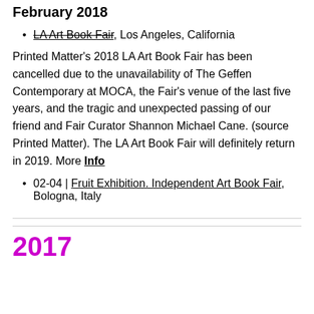February 2018
LA Art Book Fair, Los Angeles, California
Printed Matter's 2018 LA Art Book Fair has been cancelled due to the unavailability of The Geffen Contemporary at MOCA, the Fair's venue of the last five years, and the tragic and unexpected passing of our friend and Fair Curator Shannon Michael Cane. (source Printed Matter). The LA Art Book Fair will definitely return in 2019. More Info
02-04 | Fruit Exhibition. Independent Art Book Fair, Bologna, Italy
2017